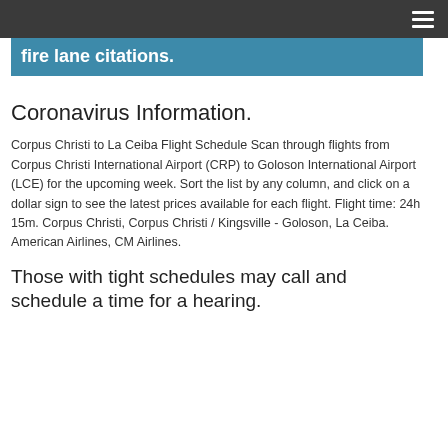fire lane citations.
Coronavirus Information.
Corpus Christi to La Ceiba Flight Schedule Scan through flights from Corpus Christi International Airport (CRP) to Goloson International Airport (LCE) for the upcoming week. Sort the list by any column, and click on a dollar sign to see the latest prices available for each flight. Flight time: 24h 15m. Corpus Christi, Corpus Christi / Kingsville - Goloson, La Ceiba. American Airlines, CM Airlines.
Those with tight schedules may call and schedule a time for a hearing.